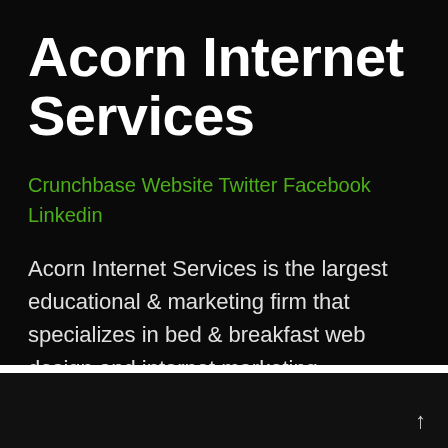Acorn Internet Services
Crunchbase Website Twitter Facebook Linkedin
Acorn Internet Services is the largest educational & marketing firm that specializes in bed & breakfast web design and internet marketing.